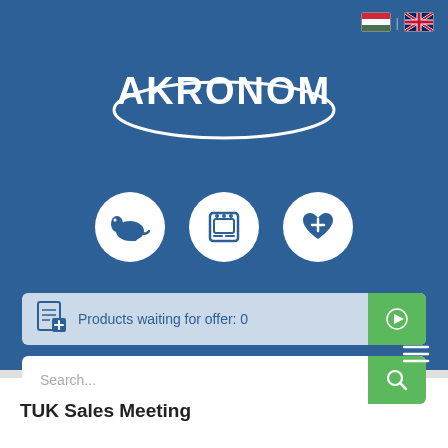[Figure (screenshot): Akronom website screenshot showing logo, navigation icons, product offer bar, and search bar on blue background]
TUK Sales Meeting